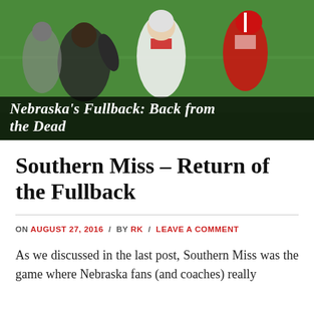[Figure (photo): Football players in action on a field, one in a white uniform and one in a red uniform, with other players in the background on green turf]
Nebraska's Fullback: Back from the Dead
Southern Miss – Return of the Fullback
ON AUGUST 27, 2016 / BY RK / LEAVE A COMMENT
As we discussed in the last post, Southern Miss was the game where Nebraska fans (and coaches) really